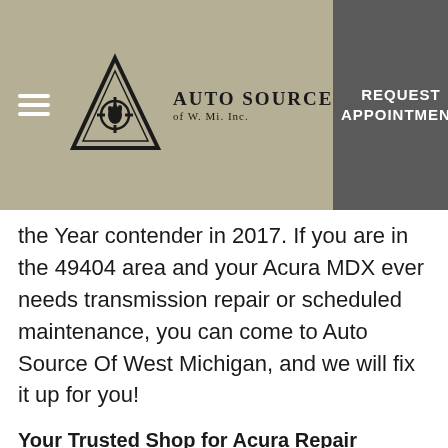Auto Source of W. Mi. Inc. — REQUEST APPOINTMENT
the Year contender in 2017. If you are in the 49404 area and your Acura MDX ever needs transmission repair or scheduled maintenance, you can come to Auto Source Of West Michigan, and we will fix it up for you!
Your Trusted Shop for Acura Repair
When your Acura needs repairs, you can bring your car to Auto Source Of West Michigan in Coopersville. We make sure our highly trained